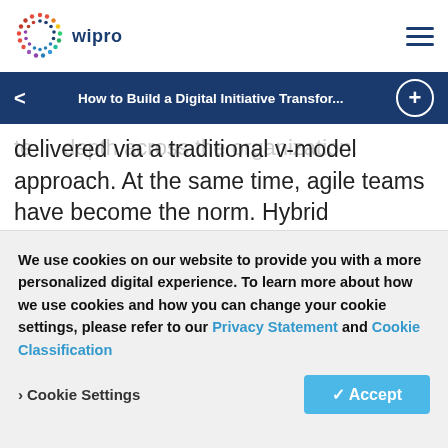wipro [logo with colorful dots] | hamburger menu
quickly with the best fit-for-purpose technology, while at the same time not piling up additional technical depth across the organization.
How to Build a Digital Initiative Transfor...
delivered via a traditional v-model approach. At the same time, agile teams have become the norm. Hybrid approaches must be designed that allow agile teams to release features in short time intervals while still adhering to an organization's
We use cookies on our website to provide you with a more personalized digital experience. To learn more about how we use cookies and how you can change your cookie settings, please refer to our Privacy Statement and Cookie Classification
Cookie Settings   ✓ Accept